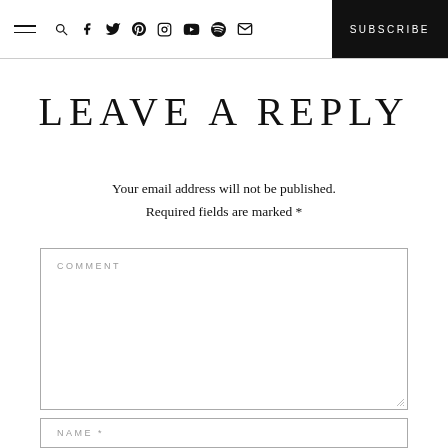SUBSCRIBE
LEAVE A REPLY
Your email address will not be published. Required fields are marked *
COMMENT
NAME *